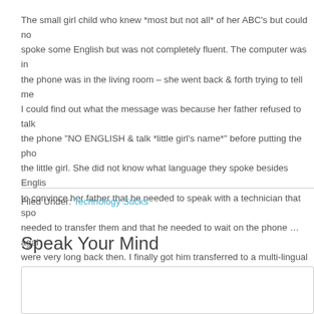The small girl child who knew *most but not all* of her ABC's but could not speak some English but was not completely fluent. The computer was in the phone was in the living room – she went back & forth trying to tell me I could find out what the message was because her father refused to talk the phone "NO ENGLISH & talk *little girl's name*" before putting the phone the little girl. She did not know what language they spoke besides English to convince her father that he needed to speak with a technician that spoke needed to transfer them and that he needed to wait on the phone … again were very long back then. I finally got him transferred to a multi-lingual te
Filed Under: Technology Sucks
Speak Your Mind